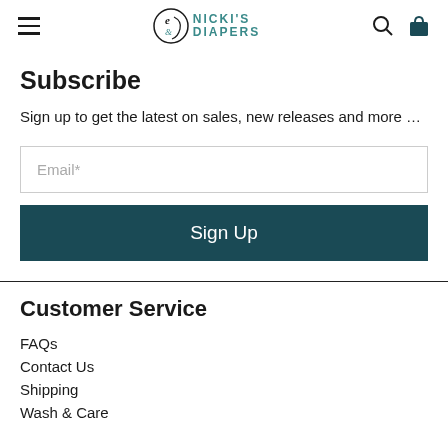Nicki's Diapers — Navigation header with hamburger menu, logo, search and cart icons
Subscribe
Sign up to get the latest on sales, new releases and more ...
Email*
Sign Up
Customer Service
FAQs
Contact Us
Shipping
Wash & Care